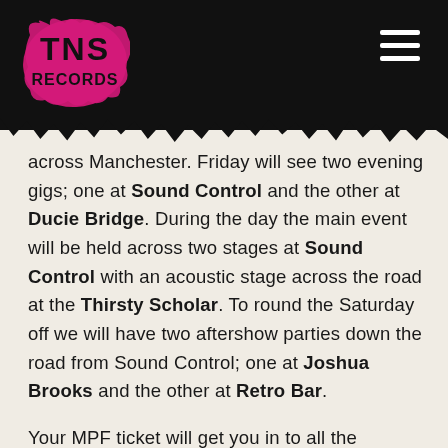[Figure (logo): TNS Records logo — pink/magenta splat background with bold black text TNS RECORDS]
across Manchester. Friday will see two evening gigs; one at Sound Control and the other at Ducie Bridge. During the day the main event will be held across two stages at Sound Control with an acoustic stage across the road at the Thirsty Scholar. To round the Saturday off we will have two aftershow parties down the road from Sound Control; one at Joshua Brooks and the other at Retro Bar.
Your MPF ticket will get you in to all the